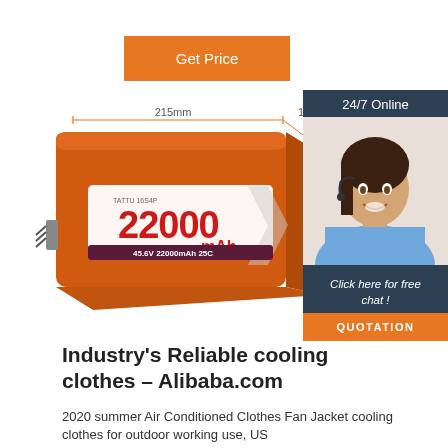Get Price
[Figure (photo): Orange LiPo battery pack labeled 22000mAh, 45.6V 22000mAh 25C, with dimension annotations showing 215mm and 132mm]
[Figure (infographic): 24/7 Online chat widget with photo of woman with headset, text 'Click here for free chat!' and orange QUOTATION button]
Industry's Reliable cooling clothes – Alibaba.com
2020 summer Air Conditioned Clothes Fan Jacket cooling clothes for outdoor working use, US